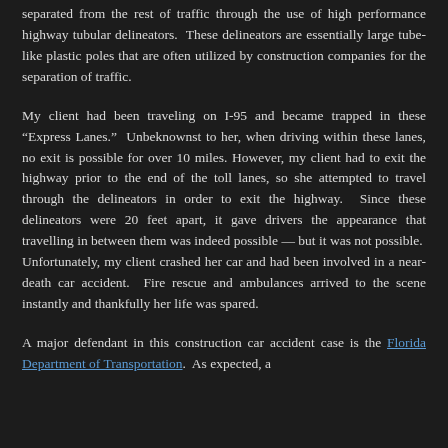separated from the rest of traffic through the use of high performance highway tubular delineators. These delineators are essentially large tube-like plastic poles that are often utilized by construction companies for the separation of traffic.
My client had been traveling on I-95 and became trapped in these “Express Lanes.” Unbeknownst to her, when driving within these lanes, no exit is possible for over 10 miles. However, my client had to exit the highway prior to the end of the toll lanes, so she attempted to travel through the delineators in order to exit the highway. Since these delineators were 20 feet apart, it gave drivers the appearance that travelling in between them was indeed possible — but it was not possible. Unfortunately, my client crashed her car and had been involved in a near-death car accident. Fire rescue and ambulances arrived to the scene instantly and thankfully her life was spared.
A major defendant in this construction car accident case is the Florida Department of Transportation. As expected, a